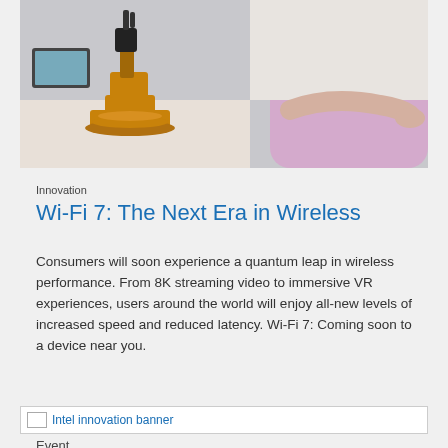[Figure (photo): Photo showing a robotic arm on a desk on the left and a person wearing VR headset on the right, reaching out with their hand]
Innovation
Wi-Fi 7: The Next Era in Wireless
Consumers will soon experience a quantum leap in wireless performance. From 8K streaming video to immersive VR experiences, users around the world will enjoy all-new levels of increased speed and reduced latency. Wi-Fi 7: Coming soon to a device near you.
[Figure (photo): Intel innovation banner (broken image)]
Event